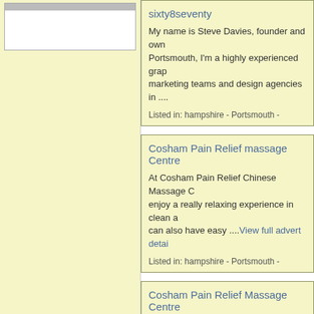[Figure (other): Left sidebar with white box with grey top bar on yellow background]
sixty8seventy

My name is Steve Davies, founder and owner of sixty8seventy. Based in Portsmouth, I'm a highly experienced graphic designer working with marketing teams and design agencies in ....

Listed in: hampshire - Portsmouth -
Cosham Pain Relief massage Centre

At Cosham Pain Relief Chinese Massage C... enjoy a really relaxing experience in clean a... can also have easy ....View full advert details

Listed in: hampshire - Portsmouth -
Cosham Pain Relief Massage Centre

At Cosham Pain Relief Chinese Massage C... enjoy a really relaxing experience in clean a... can also have easy ....View full advert details

Listed in: hampshire - Portsmouth -